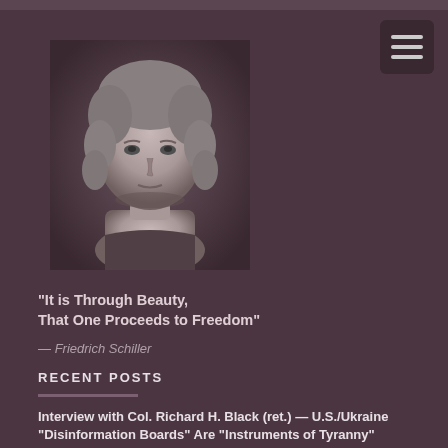[Figure (photo): Black and white image of a classical marble bust sculpture of Friedrich Schiller, showing the head and upper torso with curly hair]
"It is Through Beauty, That One Proceeds to Freedom"
— Friedrich Schiller
RECENT POSTS
Interview with Col. Richard H. Black (ret.) — U.S./Ukraine "Disinformation Boards" Are "Instruments of Tyranny"